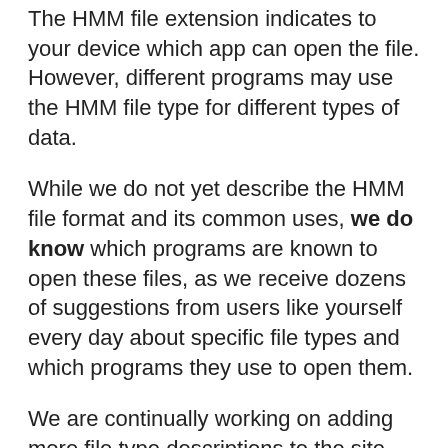The HMM file extension indicates to your device which app can open the file. However, different programs may use the HMM file type for different types of data.
While we do not yet describe the HMM file format and its common uses, we do know which programs are known to open these files, as we receive dozens of suggestions from users like yourself every day about specific file types and which programs they use to open them.
We are continually working on adding more file type descriptions to the site, so if you have information about HMM files that you think will help others, please use the Update Info link below to submit it to us - we'd love to hear from you!